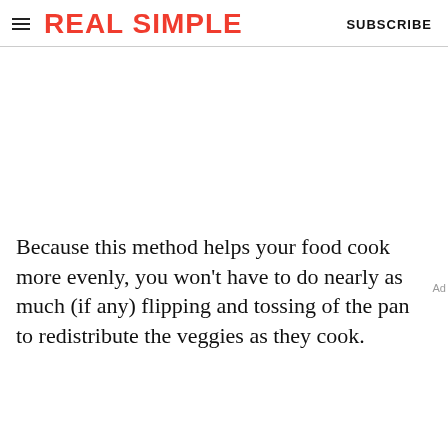REAL SIMPLE  SUBSCRIBE
Because this method helps your food cook more evenly, you won't have to do nearly as much (if any) flipping and tossing of the pan to redistribute the veggies as they cook.